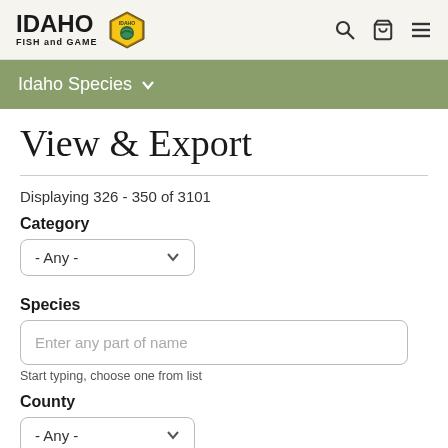IDAHO FISH and GAME — Idaho Species navigation, search, cart, menu icons
Idaho Species ▾
View & Export
Displaying 326 - 350 of 3101
Category
- Any -
Species
Enter any part of name
Start typing, choose one from list
County
- Any -